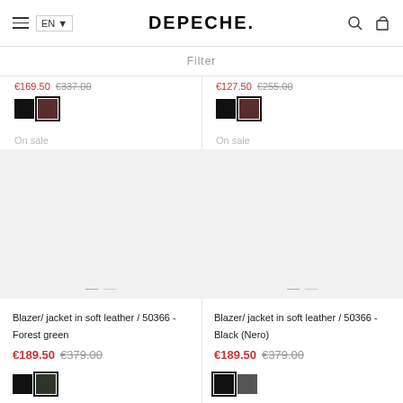DEPECHE.
Filter
€169.50  €337.00
€127.50  €255.00
On sale
On sale
Blazer/ jacket in soft leather / 50366 - Forest green
€189.50  €379.00
Blazer/ jacket in soft leather / 50366 - Black (Nero)
€189.50  €379.00